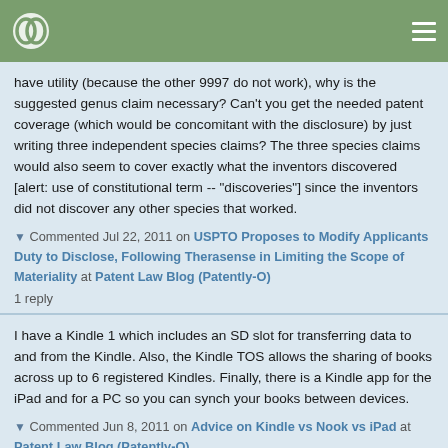Navigation bar with logo and hamburger menu
have utility (because the other 9997 do not work), why is the suggested genus claim necessary? Can't you get the needed patent coverage (which would be concomitant with the disclosure) by just writing three independent species claims? The three species claims would also seem to cover exactly what the inventors discovered [alert: use of constitutional term -- "discoveries"] since the inventors did not discover any other species that worked.
▼ Commented Jul 22, 2011 on USPTO Proposes to Modify Applicants Duty to Disclose, Following Therasense in Limiting the Scope of Materiality at Patent Law Blog (Patently-O)
1 reply
I have a Kindle 1 which includes an SD slot for transferring data to and from the Kindle. Also, the Kindle TOS allows the sharing of books across up to 6 registered Kindles. Finally, there is a Kindle app for the iPad and for a PC so you can synch your books between devices.
▼ Commented Jun 8, 2011 on Advice on Kindle vs Nook vs iPad at Patent Law Blog (Patently-O)
1 reply